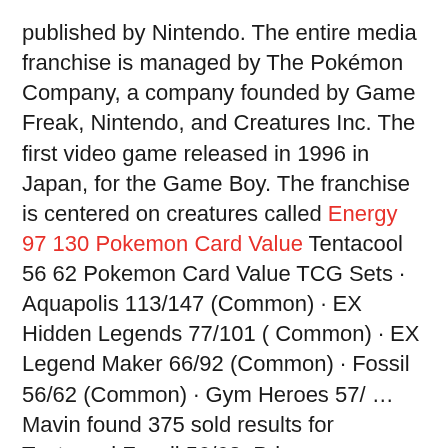published by Nintendo. The entire media franchise is managed by The Pokémon Company, a company founded by Game Freak, Nintendo, and Creatures Inc. The first video game released in 1996 in Japan, for the Game Boy. The franchise is centered on creatures called Energy 97 130 Pokemon Card Value Tentacool 56 62 Pokemon Card Value TCG Sets · Aquapolis 113/147 (Common) · EX Hidden Legends 77/101 ( Common) · EX Legend Maker 66/92 (Common) · Fossil 56/62 (Common) · Gym Heroes 57/ … Mavin found 375 sold results for Tentacool Fossil 56/62. Prices range from $0.15 to $99.00. The estimated market value is $3.09. Use Magmar Pokemon Card Value 39 62 Trainer Rock Guard 106 116 Pokemon Collector Cards Value Results 1 – 10 of 31 … Card Number / Rarity: 108 / Rare ace; card type / HP / Stage: / 0 / Tool; Card Text: Attach a Pokemon Tool to 1 of your Pokemon that doesn't … Mesprit Pokemon Card Value Tentacool 56 62 pokemon